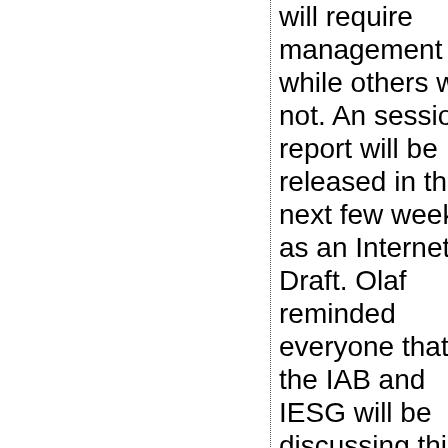will require management while others will not. An session report will be released in the next few weeks as an Internet Draft. Olaf reminded everyone that the IAB and IESG will be discussing this topic during the Sunday